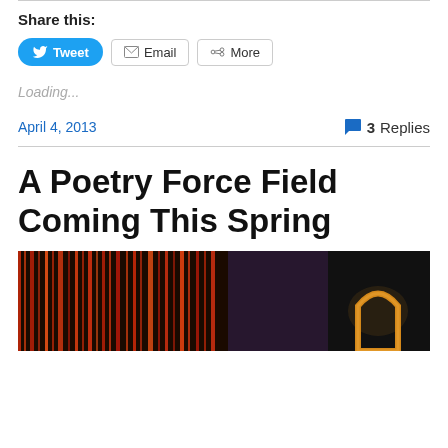Share this:
[Figure (screenshot): Social sharing buttons: Tweet (blue), Email (grey border), More (grey border)]
Loading...
April 4, 2013
3 Replies
A Poetry Force Field Coming This Spring
[Figure (photo): Colorful abstract photo with red/orange streaks and a glowing arch shape on right side]